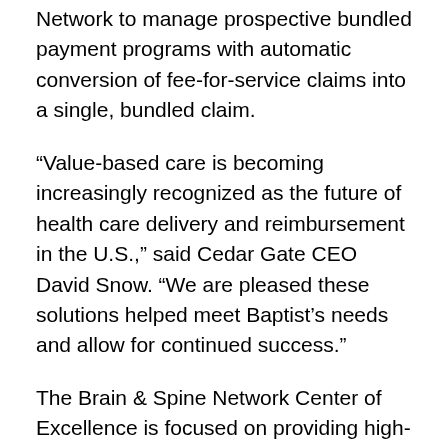Network to manage prospective bundled payment programs with automatic conversion of fee-for-service claims into a single, bundled claim.
“Value-based care is becoming increasingly recognized as the future of health care delivery and reimbursement in the U.S.,” said Cedar Gate CEO David Snow. “We are pleased these solutions helped meet Baptist’s needs and allow for continued success.”
The Brain & Spine Network Center of Excellence is focused on providing high-quality, patient-centered neurological care, emphasizing value for patients and employers. Baptist’s Centers of Excellence measure outcomes and compare results with programs across the country. The Brain & Spine Network clinical team consistently achieves top rankings among its peers. Employers can choose from Baptist’s service offerings to determine what will work best for their employee population. Baptist’s Brain & Spine Network has a robust